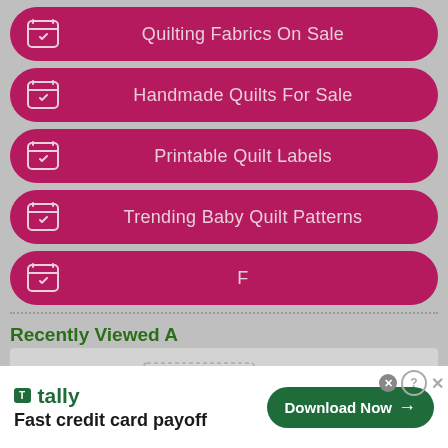Quilting Fabrics On Sale
Handmade Quilts For Sale
Printable Quilt Labels
Trending Baby Quilt Patterns
F…
Recently Viewed A…
[Figure (screenshot): Video overlay showing a person in a craft/quilt store with blue play button bars and a mute button]
[Figure (screenshot): Advertisement banner for Tally: Fast credit card payoff with Download Now button]